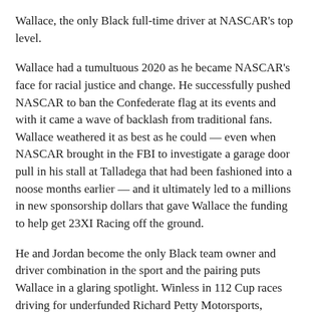Wallace, the only Black full-time driver at NASCAR's top level.
Wallace had a tumultuous 2020 as he became NASCAR's face for racial justice and change. He successfully pushed NASCAR to ban the Confederate flag at its events and with it came a wave of backlash from traditional fans. Wallace weathered it as best as he could — even when NASCAR brought in the FBI to investigate a garage door pull in his stall at Talladega that had been fashioned into a noose months earlier — and it ultimately led to a millions in new sponsorship dollars that gave Wallace the funding to help get 23XI Racing off the ground.
He and Jordan become the only Black team owner and driver combination in the sport and the pairing puts Wallace in a glaring spotlight. Winless in 112 Cup races driving for underfunded Richard Petty Motorsports, Wallace knows it is time to deliver.